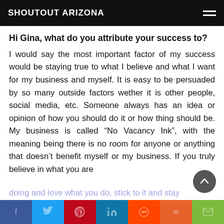SHOUTOUT ARIZONA
Hi Gina, what do you attribute your success to?
I would say the most important factor of my success would be staying true to what I believe and what I want for my business and myself. It is easy to be persuaded by so many outside factors wether it is other people, social media, etc. Someone always has an idea or opinion of how you should do it or how thing should be. My business is called “No Vacancy Ink”, with the meaning being there is no room for anyone or anything that doesn’t benefit myself or my business. If you truly believe in what you are doing and love what you do, stick to it and stay relentless and things will begin to fall into place.